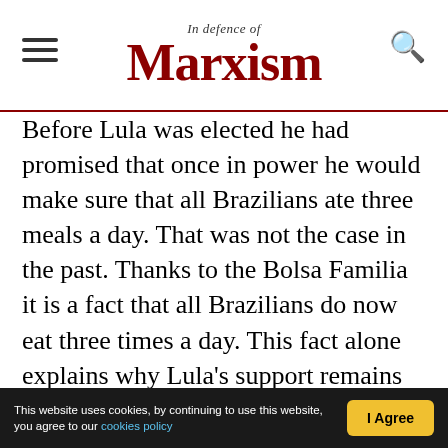In Defence of Marxism
Before Lula was elected he had promised that once in power he would make sure that all Brazilians ate three meals a day. That was not the case in the past. Thanks to the Bolsa Familia it is a fact that all Brazilians do now eat three times a day. This fact alone explains why Lula's support remains strong among the most downtrodden layers of the population.

On the other hand, there is privatisation of state owned enterprises, cuts in welfare, attacks on pensions, attacks on working conditions, a rolling back of many of the conquests of the past. Thus,
This website uses cookies, by continuing to use this website, you agree to our cookies policy | I Agree